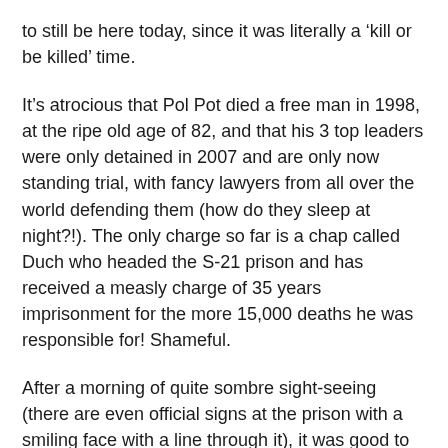to still be here today, since it was literally a ‘kill or be killed’ time.
It’s atrocious that Pol Pot died a free man in 1998, at the ripe old age of 82, and that his 3 top leaders were only detained in 2007 and are only now standing trial, with fancy lawyers from all over the world defending them (how do they sleep at night?!). The only charge so far is a chap called Duch who headed the S-21 prison and has received a measly charge of 35 years imprisonment for the more 15,000 deaths he was responsible for! Shameful.
After a morning of quite sombre sight-seeing (there are even official signs at the prison with a smiling face with a line through it), it was good to head back to town where we ditched the museum in favour of lunch. I finally got the duck I’d been hankering for, served in a delicious noodle stirfry. Things were looking up!